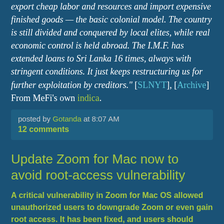export cheap labor and resources and import expensive finished goods — the basic colonial model. The country is still divided and conquered by local elites, while real economic control is held abroad. The I.M.F. has extended loans to Sri Lanka 16 times, always with stringent conditions. It just keeps restructuring us for further exploitation by creditors." [SLNYT], [Archive] From MeFi's own indica.
posted by Gotanda at 8:07 AM
12 comments
Update Zoom for Mac now to avoid root-access vulnerability
A critical vulnerability in Zoom for Mac OS allowed unauthorized users to downgrade Zoom or even gain root access. It has been fixed, and users should update now. If you're using Zoom on a Mac, it's time for a manual update. The risk comes from using a software update to update firmware.